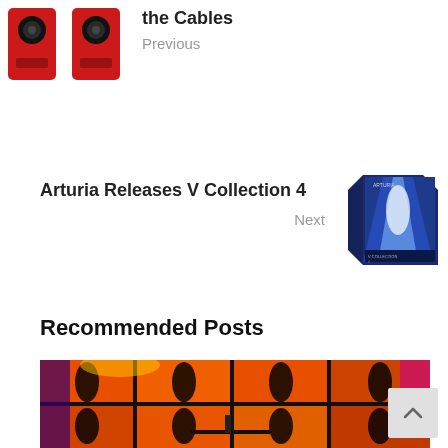[Figure (photo): Two red studio monitor speakers side by side]
the Cables
Previous
Arturia Releases V Collection 4
Next
[Figure (photo): Arturia V Collection 4 software box art]
Recommended Posts
[Figure (photo): Concert stage with orange and purple LED light panels and geometric shapes]